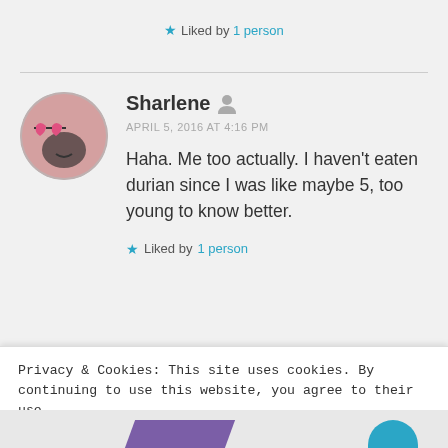★ Liked by 1 person
Sharlene
APRIL 5, 2016 AT 4:16 PM
Haha. Me too actually. I haven't eaten durian since I was like maybe 5, too young to know better.
★ Liked by 1 person
Privacy & Cookies: This site uses cookies. By continuing to use this website, you agree to their use.
To find out more, including how to control cookies, see here: Cookie Policy
Close and accept